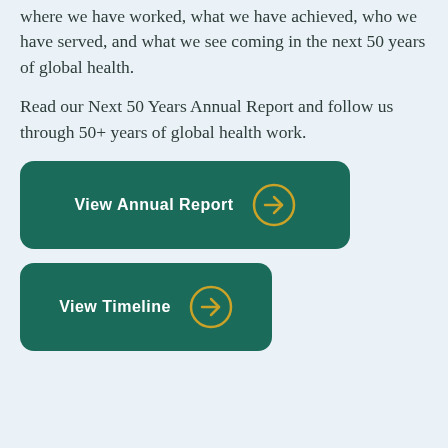where we have worked, what we have achieved, who we have served, and what we see coming in the next 50 years of global health.
Read our Next 50 Years Annual Report and follow us through 50+ years of global health work.
[Figure (other): Green rounded button with white bold text 'View Annual Report' and a gold circle arrow icon on the right]
[Figure (other): Green rounded button with white bold text 'View Timeline' and a gold circle arrow icon on the right]